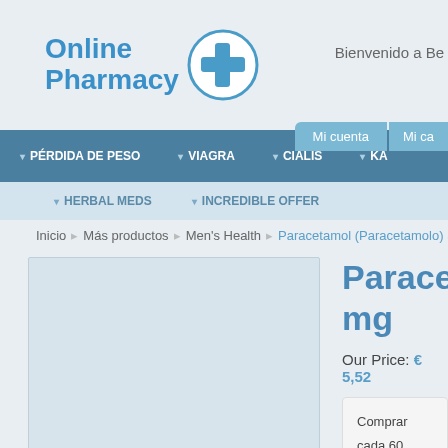[Figure (logo): Online Pharmacy logo with blue cross icon]
Bienvenido a Be
Mi cuenta   Mi ca
PÉRDIDA DE PESO   VIAGRA   CIALIS   KA
HERBAL MEDS   INCREDIBLE OFFER
Inicio  Más productos  Men's Health  Paracetamol (Paracetamolo) 500 mg
Paracetamol (Paracetamolo) 500 mg
Our Price: € 5,52
Comprar cada 60
Comprar cada 90
Para órdenes más gr